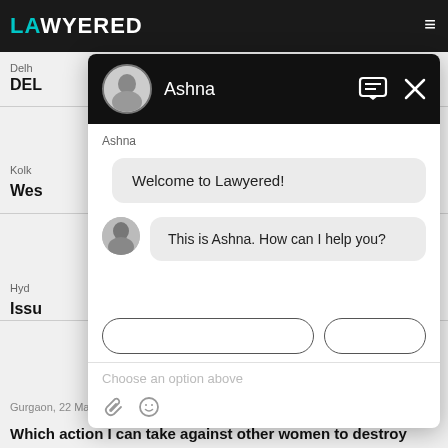LAWYERED
Delh
DEL
Kolk
Wes
Hyd
Issu
Gurgaon, 22 Mar, 2021, (1 year, 3 months ago)
Which action I can take against other women to destroy
[Figure (screenshot): Chat popup with avatar of Ashna. Header shows 'Ashna' with message and close icons. Chat messages: 'Welcome to Lawyered!' and 'This is Ashna. How can I help you?' with option buttons and 'Choose an option above' placeholder text and attachment/emoji icons.]